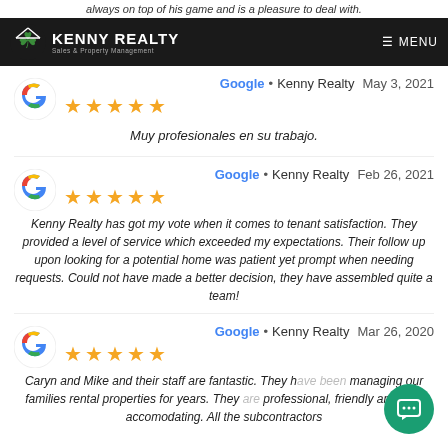always on top of his game and is a pleasure to deal with.
[Figure (logo): Kenny Realty logo with shamrock icon and tagline 'Sales & Property Management' on dark navigation bar with MENU button]
Google • Kenny Realty  May 3, 2021
★★★★★
Muy profesionales en su trabajo.
Google • Kenny Realty  Feb 26, 2021
★★★★★
Kenny Realty has got my vote when it comes to tenant satisfaction. They provided a level of service which exceeded my expectations. Their follow up upon looking for a potential home was patient yet prompt when needing requests. Could not have made a better decision, they have assembled quite a team!
Google • Kenny Realty  Mar 26, 2020
★★★★★
Caryn and Mike and their staff are fantastic. They have been managing our families rental properties for years. They are professional, friendly and very accomodating. All the subcontractors